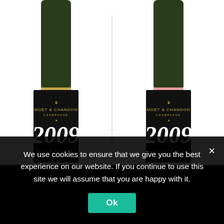[Figure (photo): Two Moët & Chandon 2009 champagne bottles side by side on white background. Left bottle: Grand Vintage 2009 with gold band at top of label, black label with white script '2009' and gold text 'GRAND VINTAGE'. Right bottle: Grand Vintage Rosé 2009 with pink/rose band at top of label, identical black label style with 'GRAND VINTAGE ROSÉ'.]
We use cookies to ensure that we give you the best experience on our website. If you continue to use this site we will assume that you are happy with it.